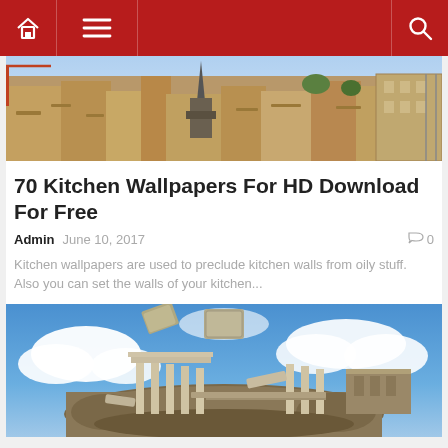Navigation bar with home, menu, and search icons
[Figure (photo): Aerial view of Paris cityscape with rooftops, buildings, and a church spire under a clear sky]
70 Kitchen Wallpapers For HD Download For Free
Admin   June 10, 2017   0
Kitchen wallpapers are used to preclude kitchen walls from oily stuff. Also you can set the walls of your kitchen...
[Figure (photo): Fantasy digital art showing ancient Greek or Roman ruins floating on a rocky island in the sky with blue sky and clouds in the background]